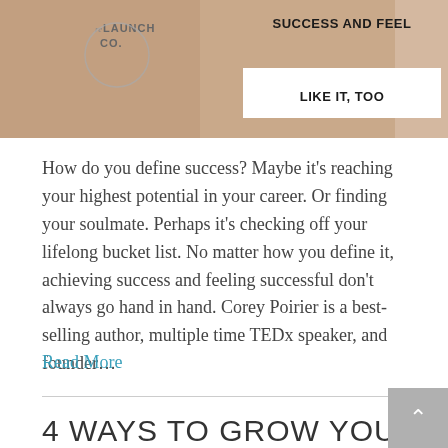[Figure (photo): Banner image with a woman in beige outfit, reLAUNCH CO. logo on left, and white text boxes on right reading 'SUCCESS AND FEEL' and 'LIKE IT, TOO' in bold black text]
How do you define success? Maybe it's reaching your highest potential in your career. Or finding your soulmate. Perhaps it's checking off your lifelong bucket list. No matter how you define it, achieving success and feeling successful don't always go hand in hand. Corey Poirier is a best-selling author, multiple time TEDx speaker, and founder…
Read More
4 WAYS TO GROW YOUR